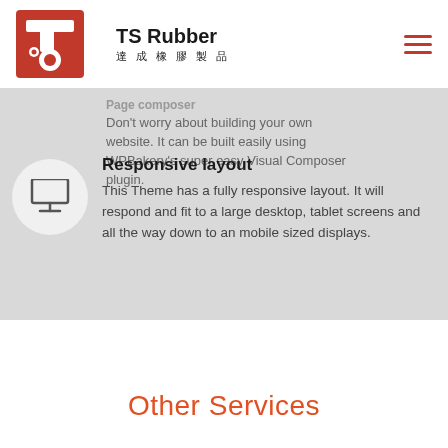TS Rubber 達成橡膠製品
Page composer
Don't worry about building your own website. It can be built easily using WPBakery's super easy Visual Composer plugin.
Responsive layout
This Theme has a fully responsive layout. It will respond and fit to a large desktop, tablet screens and all the way down to an mobile sized displays.
Other Services